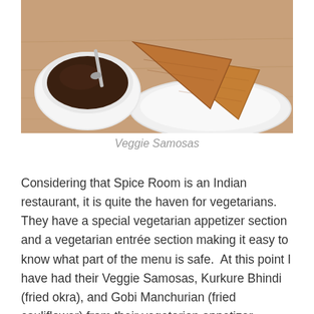[Figure (photo): Photo of veggie samosas on a white plate next to a small white bowl of dark dipping sauce, on a wooden table surface.]
Veggie Samosas
Considering that Spice Room is an Indian restaurant, it is quite the haven for vegetarians.  They have a special vegetarian appetizer section and a vegetarian entrée section making it easy to know what part of the menu is safe.  At this point I have had their Veggie Samosas, Kurkure Bhindi (fried okra), and Gobi Manchurian (fried cauliflower) from their vegetarian appetizer options.